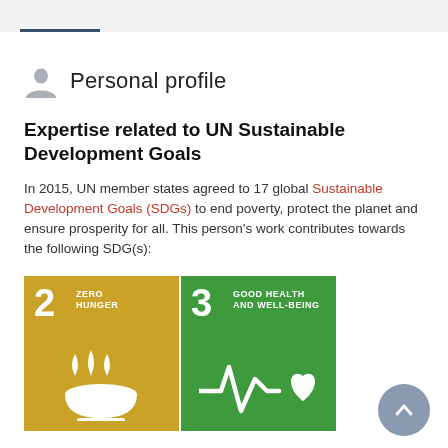Personal profile
Expertise related to UN Sustainable Development Goals
In 2015, UN member states agreed to 17 global Sustainable Development Goals (SDGs) to end poverty, protect the planet and ensure prosperity for all. This person's work contributes towards the following SDG(s):
[Figure (infographic): Two SDG tiles: SDG 2 Zero Hunger (gold/yellow with bowl and steam icon) and SDG 3 Good Health and Well-Being (green with heartbeat and heart icon)]